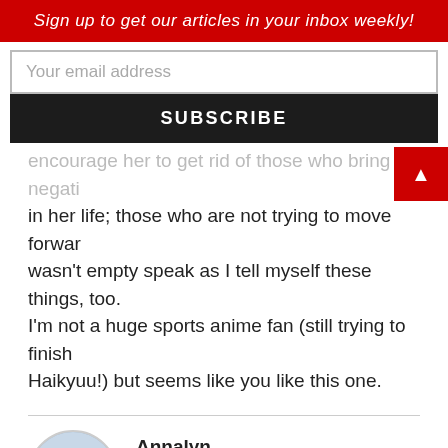Sign up to get our articles in your inbox weekly!
Your email address
SUBSCRIBE
encourage her to get rid of those who bring negati... in her life; those who are not trying to move forwar... wasn't empty speak as I tell myself these things, too. I'm not a huge sports anime fan (still trying to finish Haikyuu!) but seems like you like this one.
Annalyn
07.26.2016 at 8:03 PM   Reply
Thank you, GoodbyeNavi! Blogging keeps me